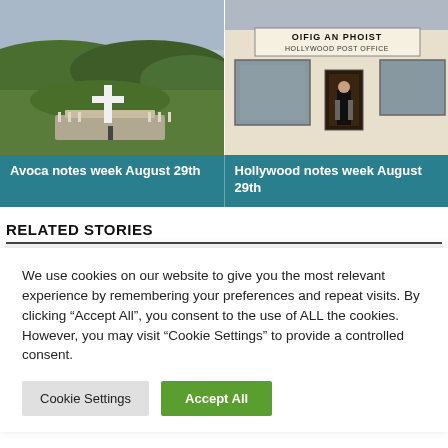[Figure (photo): Aerial landscape photo showing green hills and a large white cross monument on a platform/patio area, with fields and forests in the background under a cloudy sky.]
[Figure (photo): Photo of a post office building with sign reading 'OIFIG AN PHOIST HOLLYWOOD POST OFFICE'. A person in black trousers and suspenders stands in the doorway.]
Avoca notes week August 29th
Hollywood notes week August 29th
RELATED STORIES
We use cookies on our website to give you the most relevant experience by remembering your preferences and repeat visits. By clicking "Accept All", you consent to the use of ALL the cookies. However, you may visit "Cookie Settings" to provide a controlled consent.